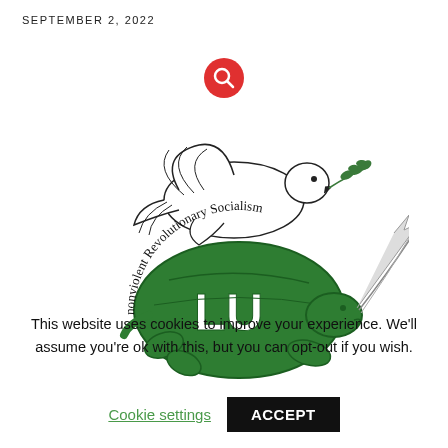SEPTEMBER 2, 2022
[Figure (logo): Red circular search/magnifying glass button icon]
[Figure (logo): Logo of nonviolent Revolutionary Socialism: a white dove holding an olive branch flying above a green turtle with the letters LU on its shell and a quill pen, with the text 'nonviolent Revolutionary Socialism' arcing around the turtle]
This website uses cookies to improve your experience. We'll assume you're ok with this, but you can opt-out if you wish.
Cookie settings   ACCEPT